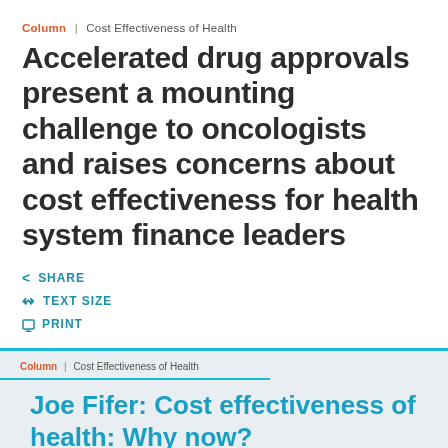Column | Cost Effectiveness of Health
Accelerated drug approvals present a mounting challenge to oncologists and raises concerns about cost effectiveness for health system finance leaders
SHARE
TEXT SIZE
PRINT
Column | Cost Effectiveness of Health
Joe Fifer: Cost effectiveness of health: Why now?
Joe Fifer says it's time for healthcare leaders to make a choice about their role in addressing social